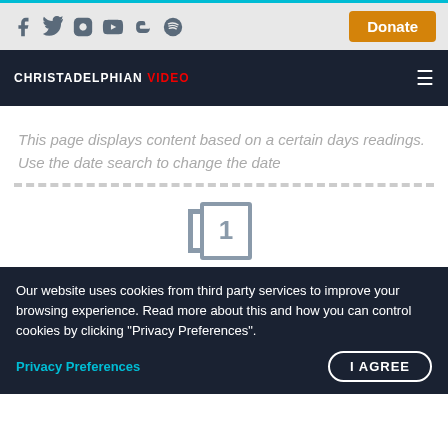Social icons: Facebook, Twitter, Instagram, YouTube, Blogger, Spotify | Donate button
CHRISTADELPHIAN VIDEO
This page displays content based on a certain days readings. Use the date search to change the date
[Figure (other): Pagination element showing page number 1 in a box with a left bracket]
Our website uses cookies from third party services to improve your browsing experience. Read more about this and how you can control cookies by clicking "Privacy Preferences".
Privacy Preferences | I AGREE